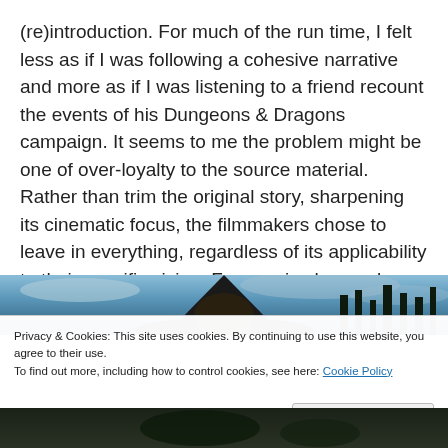(re)introduction. For much of the run time, I felt less as if I was following a cohesive narrative and more as if I was listening to a friend recount the events of his Dungeons & Dragons campaign. It seems to me the problem might be one of over-loyalty to the source material. Rather than trim the original story, sharpening its cinematic focus, the filmmakers chose to leave in everything, regardless of its applicability to their specific vision. Fan service has a place, but so does efficient storytelling.
[Figure (photo): Dark fantasy movie scene showing a figure in a wide-brimmed hat against a stormy sky with tall dark trees]
Privacy & Cookies: This site uses cookies. By continuing to use this website, you agree to their use. To find out more, including how to control cookies, see here: Cookie Policy
[Figure (photo): Dark fantasy movie scene bottom strip]